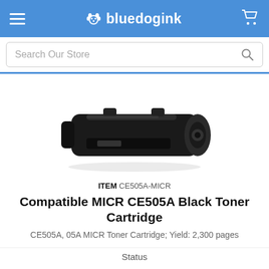bluedogink
Search Our Store
[Figure (photo): Black toner cartridge (HP CE505A compatible MICR) shown at an angle on white background]
ITEM CE505A-MICR
Compatible MICR CE505A Black Toner Cartridge
CE505A, 05A MICR Toner Cartridge; Yield: 2,300 pages
Status